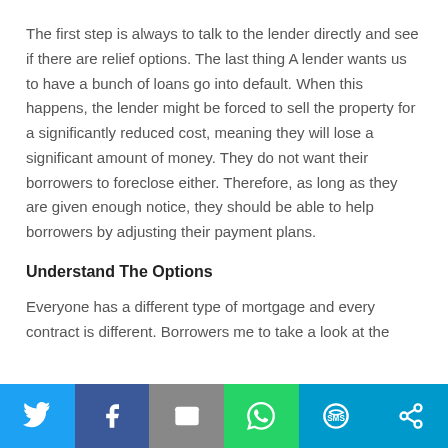The first step is always to talk to the lender directly and see if there are relief options. The last thing A lender wants us to have a bunch of loans go into default. When this happens, the lender might be forced to sell the property for a significantly reduced cost, meaning they will lose a significant amount of money. They do not want their borrowers to foreclose either. Therefore, as long as they are given enough notice, they should be able to help borrowers by adjusting their payment plans.
Understand The Options
Everyone has a different type of mortgage and every contract is different. Borrowers me to take a look at the
[Figure (infographic): Social sharing bar with six buttons: Twitter (blue), Facebook (dark blue), Email (grey), WhatsApp (green), SMS (blue), and a share/more button (blue)]